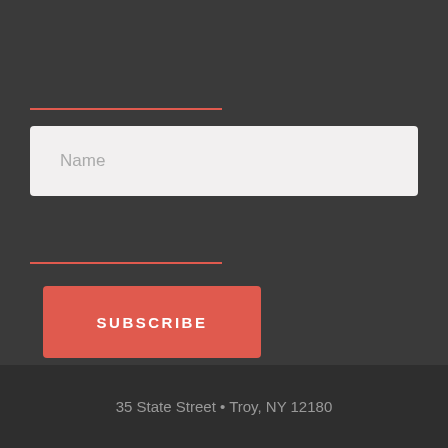[Figure (screenshot): Form input field with placeholder text 'Name' on dark background with red underline accent above]
Name
SUBSCRIBE
35 State Street • Troy, NY 12180